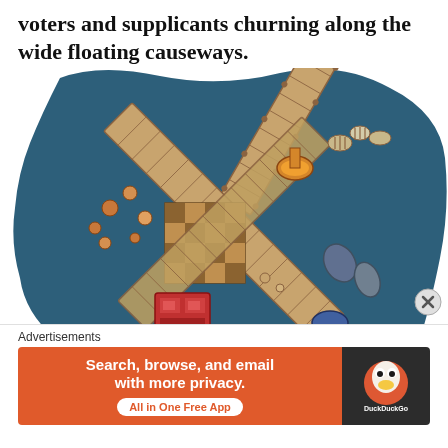voters and supplicants churning along the wide floating causeways.
[Figure (illustration): Fantasy/game illustration showing a top-down view of a cross-shaped wooden floating platform or dock structure on dark blue water. The structure features multiple connected planks with small figurines/characters, boats, and objects around and on it. A large number '1' appears in the lower-left of the image. The illustration has a dark teal/blue water background with an irregular blob-shaped boundary.]
Advertisements
[Figure (screenshot): DuckDuckGo advertisement banner. Orange background on left side with white bold text: 'Search, browse, and email with more privacy.' and a white pill button reading 'All in One Free App'. Dark background on right with DuckDuckGo duck logo.]